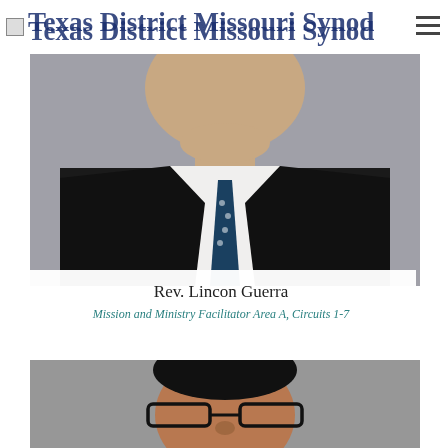Texas District Missouri Synod
[Figure (photo): Professional headshot of Rev. Lincon Guerra, man in dark suit with patterned tie against grey background]
Rev. Lincon Guerra
Mission and Ministry Facilitator Area A, Circuits 1-7
[Figure (photo): Professional headshot of a man wearing glasses and dark hair against grey background]